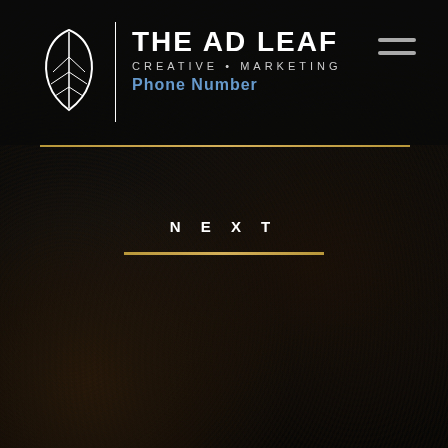[Figure (logo): The Ad Leaf logo — white leaf icon with vein lines, vertical white divider, brand name THE AD LEAF in bold white, subtitle CREATIVE • MARKETING in white caps, Phone Number text overlaid in blue. Hamburger menu icon top right. Dark header bar background.]
Phone Number
NEXT